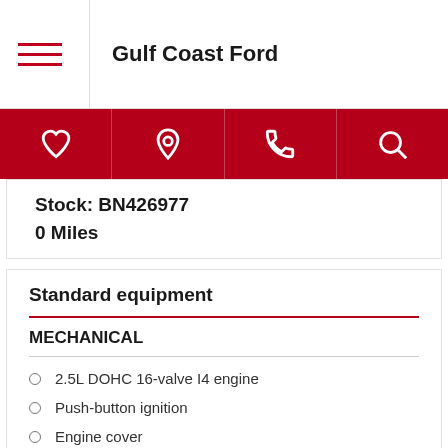Gulf Coast Ford
Stock: BN426977
0 Miles
Standard equipment
MECHANICAL
2.5L DOHC 16-valve I4 engine
Push-button ignition
Engine cover
Xtronic continuously variable transmission (CVT)